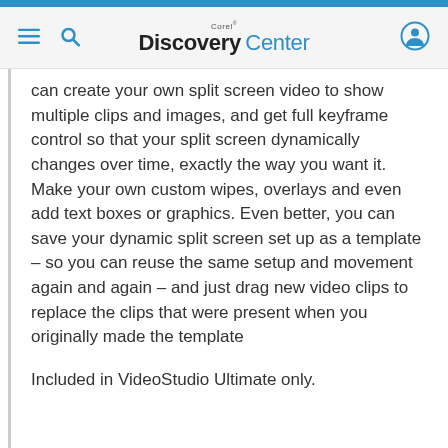Corel Discovery Center
can create your own split screen video to show multiple clips and images, and get full keyframe control so that your split screen dynamically changes over time, exactly the way you want it. Make your own custom wipes, overlays and even add text boxes or graphics. Even better, you can save your dynamic split screen set up as a template – so you can reuse the same setup and movement again and again – and just drag new video clips to replace the clips that were present when you originally made the template
Included in VideoStudio Ultimate only.